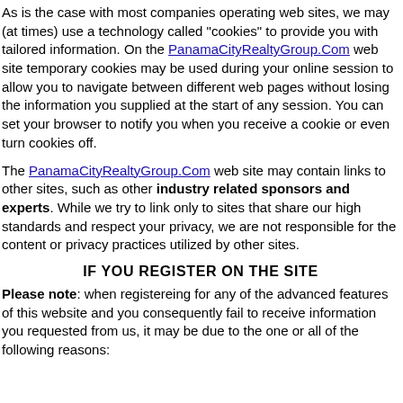As is the case with most companies operating web sites, we may (at times) use a technology called "cookies" to provide you with tailored information. On the PanamaCityRealtyGroup.Com web site temporary cookies may be used during your online session to allow you to navigate between different web pages without losing the information you supplied at the start of any session. You can set your browser to notify you when you receive a cookie or even turn cookies off.
The PanamaCityRealtyGroup.Com web site may contain links to other sites, such as other industry related sponsors and experts. While we try to link only to sites that share our high standards and respect your privacy, we are not responsible for the content or privacy practices utilized by other sites.
IF YOU REGISTER ON THE SITE
Please note: when registereing for any of the advanced features of this website and you consequently fail to receive information you requested from us, it may be due to the one or all of the following reasons: